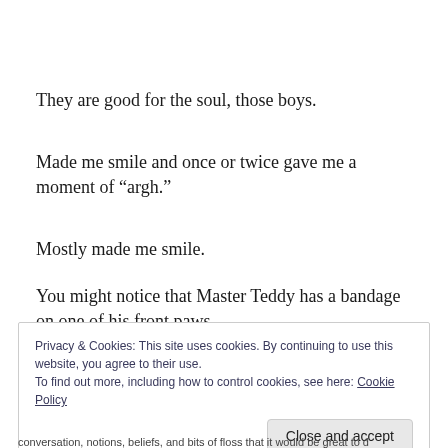They are good for the soul, those boys.
Made me smile and once or twice gave me a moment of “argh.”
Mostly made me smile.
You might notice that Master Teddy has a bandage on one of his front paws.
Privacy & Cookies: This site uses cookies. By continuing to use this website, you agree to their use.
To find out more, including how to control cookies, see here: Cookie Policy
conversation, notions, beliefs, and bits of floss that it would be great to d...